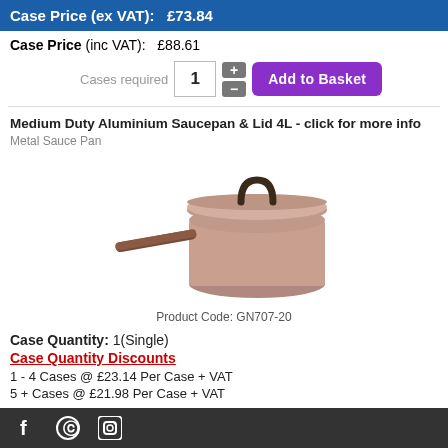Case Price (ex VAT):   £73.84
Case Price (inc VAT):   £88.61
Cases required 1 + - Add to Basket
Medium Duty Aluminium Saucepan & Lid 4L - click for more info
Metal Sauce Pan
[Figure (photo): Aluminium saucepan with lid and long handle, copper/rose gold color]
Product Code: GN707-20
Case Quantity: 1(Single)
Case Quantity Discounts
1 - 4 Cases @ £23.14 Per Case + VAT
5 + Cases @ £21.98 Per Case + VAT
Social media icons: Facebook, Pinterest, Instagram